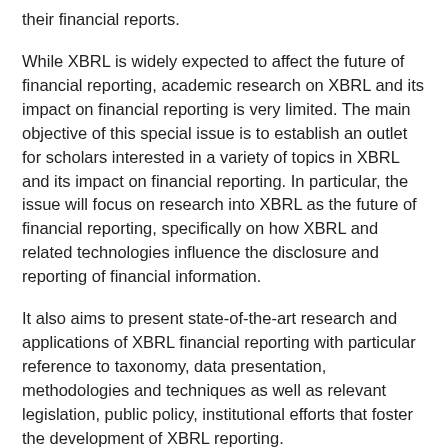their financial reports.
While XBRL is widely expected to affect the future of financial reporting, academic research on XBRL and its impact on financial reporting is very limited. The main objective of this special issue is to establish an outlet for scholars interested in a variety of topics in XBRL and its impact on financial reporting. In particular, the issue will focus on research into XBRL as the future of financial reporting, specifically on how XBRL and related technologies influence the disclosure and reporting of financial information.
It also aims to present state-of-the-art research and applications of XBRL financial reporting with particular reference to taxonomy, data presentation, methodologies and techniques as well as relevant legislation, public policy, institutional efforts that foster the development of XBRL reporting.
Suitable topics include but are not limited to: